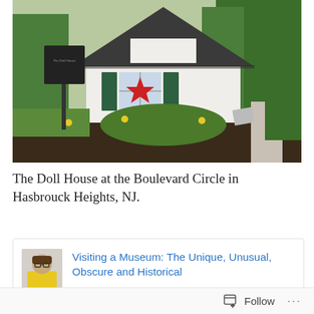[Figure (photo): Photograph of the Doll House at the Boulevard Circle in Hasbrouck Heights, NJ. A small white house with a dark shingled roof and a gabled front. Green shutters flank a window with a red star decoration inside. A historical marker sign stands to the left. Yellow flowers and ornamental grasses in a mulched bed in the foreground. A concrete walkway visible on the right with more greenery.]
The Doll House at the Boulevard Circle in Hasbrouck Heights, NJ.
[Figure (photo): Related content card showing an avatar photo of a man in a yellow shirt, with a link titled 'Visiting a Museum: The Unique, Unusual, Obscure and Historical']
Follow ···